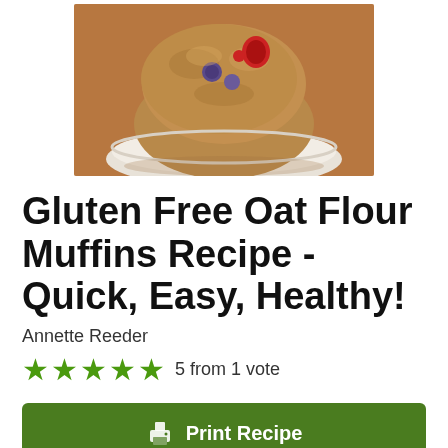[Figure (photo): A large berry muffin in a white bowl, with blueberries and cranberries visible, on a wooden surface]
Gluten Free Oat Flour Muffins Recipe - Quick, Easy, Healthy!
Annette Reeder
5 from 1 vote
Print Recipe